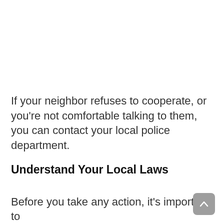If your neighbor refuses to cooperate, or you're not comfortable talking to them, you can contact your local police department.
Understand Your Local Laws
Before you take any action, it's important to